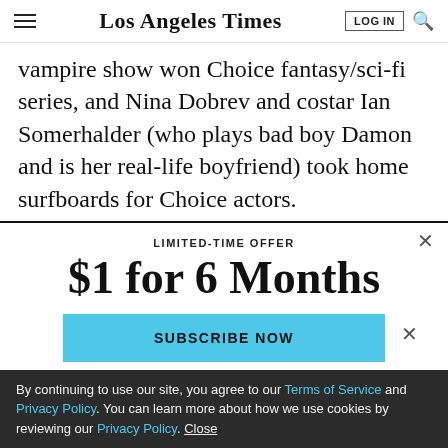Los Angeles Times
vampire show won Choice fantasy/sci-fi series, and Nina Dobrev and costar Ian Somerhalder (who plays bad boy Damon and is her real-life boyfriend) took home surfboards for Choice actors.
LIMITED-TIME OFFER
$1 for 6 Months
SUBSCRIBE NOW
By continuing to use our site, you agree to our Terms of Service and Privacy Policy. You can learn more about how we use cookies by reviewing our Privacy Policy. Close